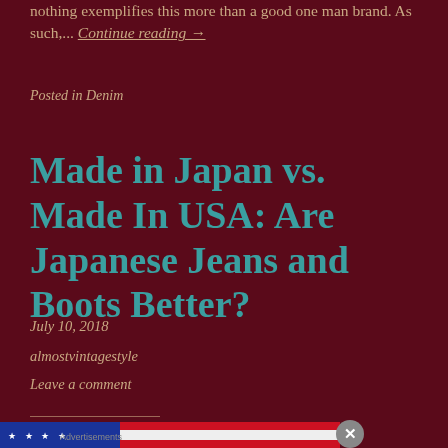nothing exemplifies this more than a good one man brand. As such,... Continue reading →
Posted in Denim
Made in Japan vs. Made In USA: Are Japanese Jeans and Boots Better?
July 10, 2018
almostvintagestyle
Leave a comment
[Figure (photo): American flag photo strip showing blue field with white stars and red and white stripes]
Advertisements